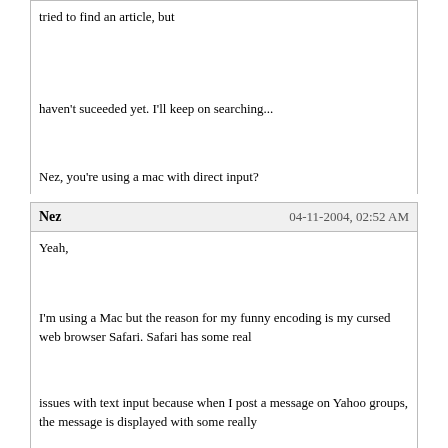tried to find an article, but
haven't suceeded yet. I'll keep on searching...
Nez, you're using a mac with direct input?
Nez   04-11-2004, 02:52 AM
Yeah,
I'm using a Mac but the reason for my funny encoding is my cursed web browser Safari. Safari has some real
issues with text input because when I post a message on Yahoo groups, the message is displayed with some really
weird formatting.